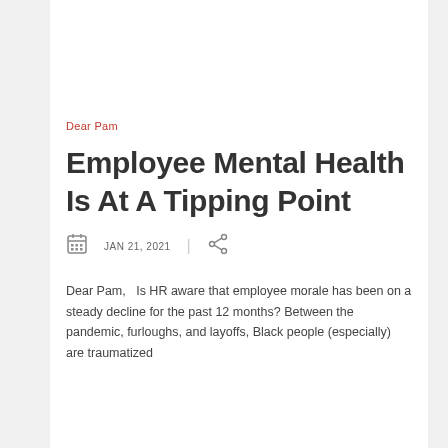Dear Pam
Employee Mental Health Is At A Tipping Point
JAN 21, 2021
Dear Pam,   Is HR aware that employee morale has been on a steady decline for the past 12 months? Between the pandemic, furloughs, and layoffs, Black people (especially) are traumatized